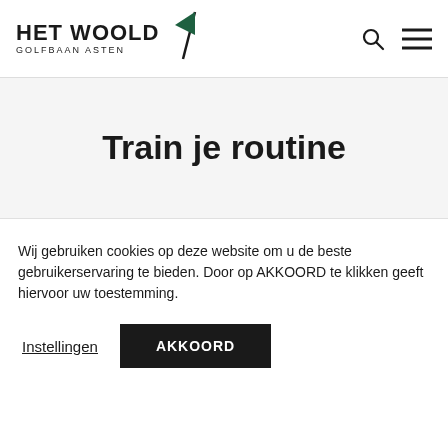HET WOOLD GOLFBAAN ASTEN
Train je routine
Door je routine te trainen op de driving range zul je eerder in de 'flow' komen op
Wij gebruiken cookies op deze website om u de beste gebruikerservaring te bieden. Door op AKKOORD te klikken geeft hiervoor uw toestemming.
Instellingen    AKKOORD